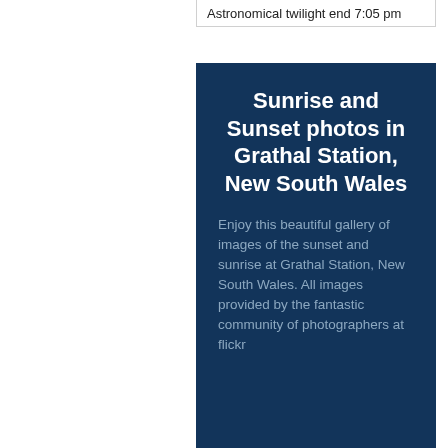Astronomical twilight end 7:05 pm
Sunrise and Sunset photos in Grathal Station, New South Wales
Enjoy this beautiful gallery of images of the sunset and sunrise at Grathal Station, New South Wales. All images provided by the fantastic community of photographers at flickr